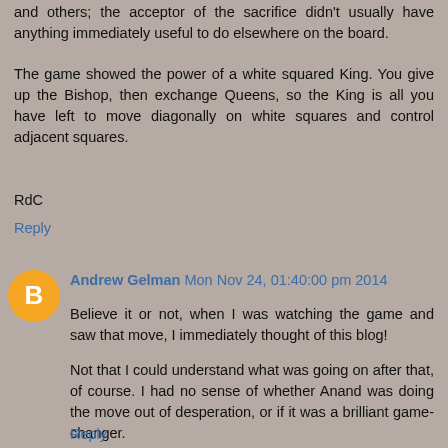and others; the acceptor of the sacrifice didn't usually have anything immediately useful to do elsewhere on the board.
The game showed the power of a white squared King. You give up the Bishop, then exchange Queens, so the King is all you have left to move diagonally on white squares and control adjacent squares.
RdC
Reply
Andrew Gelman  Mon Nov 24, 01:40:00 pm 2014
Believe it or not, when I was watching the game and saw that move, I immediately thought of this blog!
Not that I could understand what was going on after that, of course. I had no sense of whether Anand was doing the move out of desperation, or if it was a brilliant game-changer.
Reply